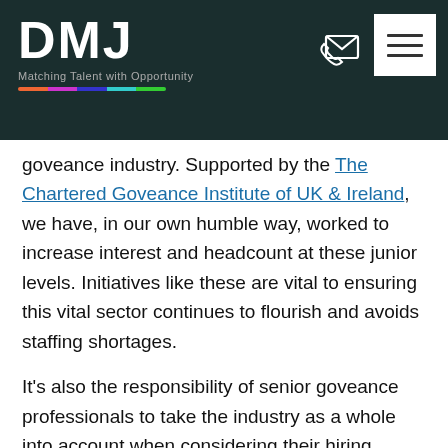DMJ – Matching Talent with Opportunity
goveance industry. Supported by the The Chartered Goveance Institute of UK & Ireland, we have, in our own humble way, worked to increase interest and headcount at these junior levels. Initiatives like these are vital to ensuring this vital sector continues to flourish and avoids staffing shortages.
It's also the responsibility of senior goveance professionals to take the industry as a whole into account when considering their hiring processes. Hiring at the graduate level should be a serious consideration for those interested in maintaining the long-term sustainability of the profession so we can avoid these shortages repeating themselves down the